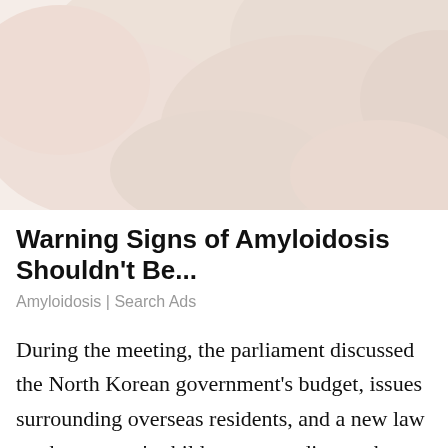[Figure (photo): Close-up photo of light pinkish-beige rounded shapes on a white background, suggesting medical or anatomical subject matter related to amyloidosis advertisement.]
Warning Signs of Amyloidosis Shouldn't Be...
Amyloidosis | Search Ads
During the meeting, the parliament discussed the North Korean government's budget, issues surrounding overseas residents, and a new law on the country's childcare, according to the state-run Korean Central News Agency (KCNA). Supreme Leader Kim Jong-un, the country's autocratic head of state, did not attend the meeting. In his